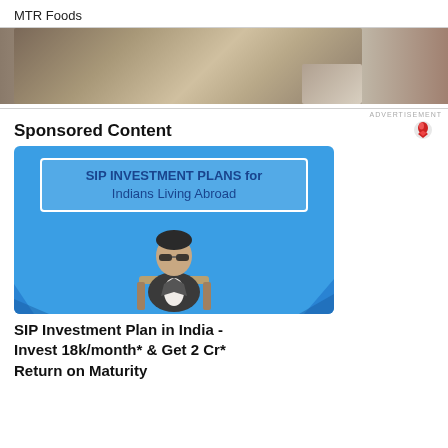MTR Foods
[Figure (photo): Partial photo strip showing a blurred/cropped image, likely food or kitchen related]
ADVERTISEMENT
Sponsored Content
[Figure (infographic): SIP Investment Plans advertisement with blue background, white bordered box with text 'SIP INVESTMENT PLANS for Indians Living Abroad', and a man in a suit sitting in a chair]
SIP Investment Plan in India - Invest 18k/month* & Get 2 Cr* Return on Maturity